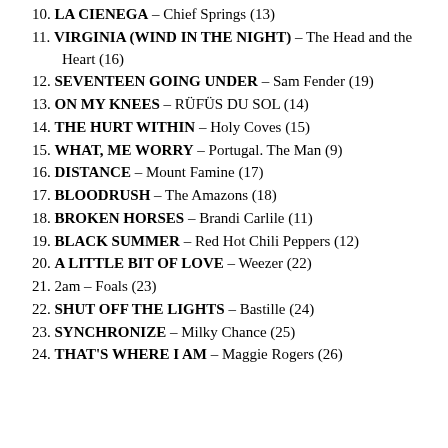10. LA CIENEGA – Chief Springs (13)
11. VIRGINIA (WIND IN THE NIGHT) – The Head and the Heart (16)
12. SEVENTEEN GOING UNDER – Sam Fender (19)
13. ON MY KNEES – RÜFÜS DU SOL (14)
14. THE HURT WITHIN – Holy Coves (15)
15. WHAT, ME WORRY – Portugal. The Man (9)
16. DISTANCE – Mount Famine (17)
17. BLOODRUSH – The Amazons (18)
18. BROKEN HORSES – Brandi Carlile (11)
19. BLACK SUMMER – Red Hot Chili Peppers (12)
20. A LITTLE BIT OF LOVE – Weezer (22)
21. 2am – Foals (23)
22. SHUT OFF THE LIGHTS – Bastille (24)
23. SYNCHRONIZE – Milky Chance (25)
24. THAT'S WHERE I AM – Maggie Rogers (26)